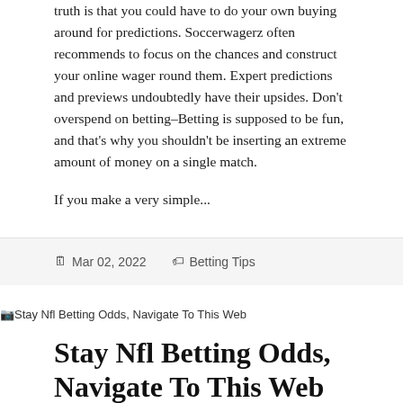truth is that you could have to do your own buying around for predictions. Soccerwagerz often recommends to focus on the chances and construct your online wager round them. Expert predictions and previews undoubtedly have their upsides. Don't overspend on betting–Betting is supposed to be fun, and that's why you shouldn't be inserting an extreme amount of money on a single match.
If you make a very simple...
Mar 02, 2022   Betting Tips
[Figure (other): Image placeholder showing alt text: Stay Nfl Betting Odds, Navigate To This Web]
Stay Nfl Betting Odds, Navigate To This Web